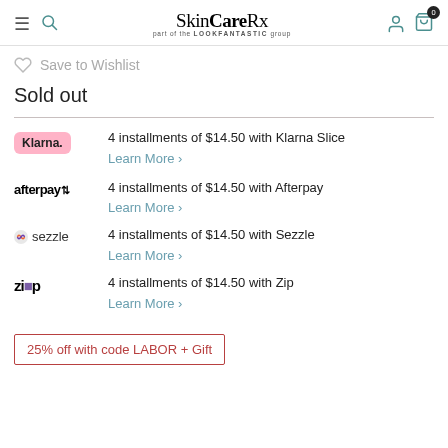SkinCareRx — part of the LOOKFANTASTIC group
Save to Wishlist
Sold out
4 installments of $14.50 with Klarna Slice
Learn More >
4 installments of $14.50 with Afterpay
Learn More >
4 installments of $14.50 with Sezzle
Learn More >
4 installments of $14.50 with Zip
Learn More >
25% off with code LABOR + Gift